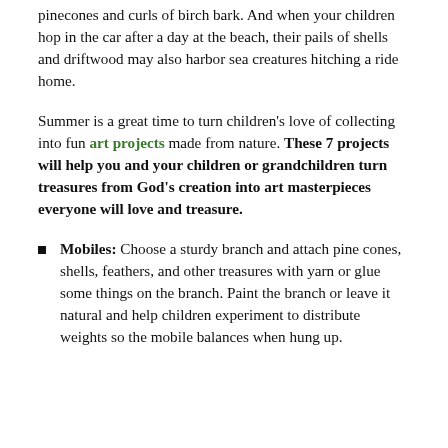pinecones and curls of birch bark. And when your children hop in the car after a day at the beach, their pails of shells and driftwood may also harbor sea creatures hitching a ride home.
Summer is a great time to turn children's love of collecting into fun art projects made from nature. These 7 projects will help you and your children or grandchildren turn treasures from God's creation into art masterpieces everyone will love and treasure.
Mobiles: Choose a sturdy branch and attach pine cones, shells, feathers, and other treasures with yarn or glue some things on the branch. Paint the branch or leave it natural and help children experiment to distribute weights so the mobile balances when hung up.